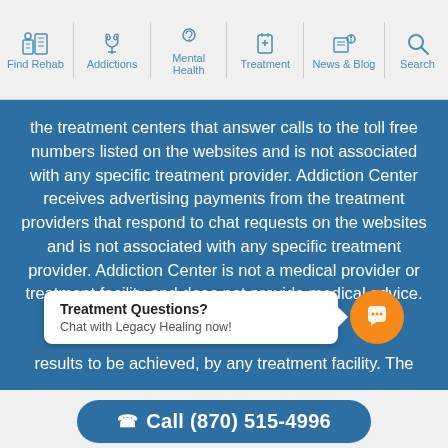Find Rehab | Addictions | Mental Health | Treatment | News & Blog | Search
the treatment centers that answer calls to the toll free numbers listed on the websites and is not associated with any specific treatment provider. Addiction Center receives advertising payments from the treatment providers that respond to chat requests on the websites and is not associated with any specific treatment provider. Addiction Center is not a medical provider or treatment facility and does not provide medical advice. Addiction Center do[es not endorse any treat]ment facility or guarantee t[he quality of care provided,]ed, [the] results to be achieved, by any treatment facility. The
[Figure (screenshot): Chat popup overlay with orange avatar button. Text reads: 'Treatment Questions? Chat with Legacy Healing now!']
Call (870) 515-4996
Confidentially speak with a treatment provider